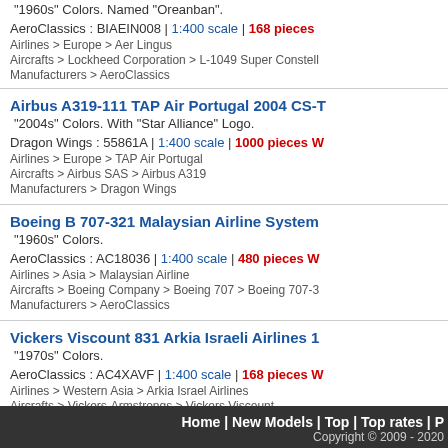"1960s" Colors. Named "Oreanban".
AeroClassics : BIAEIN008 | 1:400 scale | 168 pieces
Airlines > Europe > Aer Lingus
Aircrafts > Lockheed Corporation > L-1049 Super Constell
Manufacturers > AeroClassics
Airbus A319-111 TAP Air Portugal 2004 CS-T
"2004s" Colors. With "Star Alliance" Logo.
Dragon Wings : 55861A | 1:400 scale | 1000 pieces W
Airlines > Europe > TAP Air Portugal
Aircrafts > Airbus SAS > Airbus A319
Manufacturers > Dragon Wings
Boeing B 707-321 Malaysian Airline System
"1960s" Colors.
AeroClassics : AC18036 | 1:400 scale | 480 pieces W
Airlines > Asia > Malaysian Airline
Aircrafts > Boeing Company > Boeing 707 > Boeing 707-3
Manufacturers > AeroClassics
Vickers Viscount 831 Arkia Israeli Airlines 1
"1970s" Colors.
AeroClassics : AC4XAVF | 1:400 scale | 168 pieces W
Airlines > Western Asia > Arkia Israel Airlines
Aircrafts > Vickers-Armstrongs > Vickers Viscount
Manufacturers > AeroClassics
Home | New Models | Top | Top rates | P  Copyright © 2009 - 2020